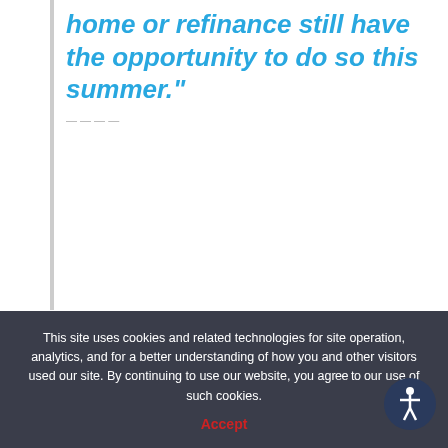home or refinance still have the opportunity to do so this summer."
Hale goes on to say that buyers who don't act soon could see higher rates in the coming months, negatively impacting their purchasing power:
This site uses cookies and related technologies for site operation, analytics, and for a better understanding of how you and other visitors used our site. By continuing to use our website, you agree to our use of such cookies.
Accept